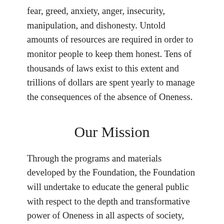fear, greed, anxiety, anger, insecurity, manipulation, and dishonesty. Untold amounts of resources are required in order to monitor people to keep them honest. Tens of thousands of laws exist to this extent and trillions of dollars are spent yearly to manage the consequences of the absence of Oneness.
Our Mission
Through the programs and materials developed by the Foundation, the Foundation will undertake to educate the general public with respect to the depth and transformative power of Oneness in all aspects of society, culture, and life.
The organization plans to develop additional programs as needed, as well as radio and television